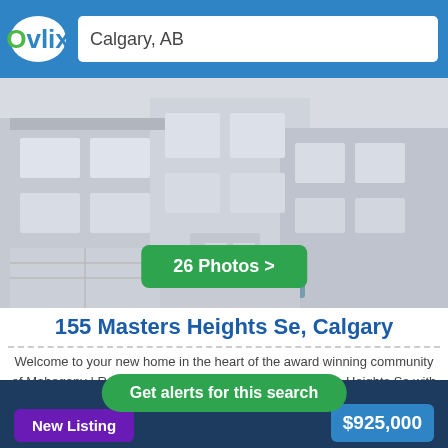Calgary, AB
[Figure (photo): Exterior photo of a modern townhouse/residential home in grey tones, showing multi-story facade with windows and garage]
26 Photos >
155 Masters Heights Se, Calgary
Welcome to your new home in the heart of the award winning community of Mahogany | Residential Home For Sale at 155 Masters Heights Se with MLS Number a1250479 listed in Calgary, AB at
3 beds 4 baths 1968 sqft • 20 Days
Get alerts for this search
New Listing
$925,000